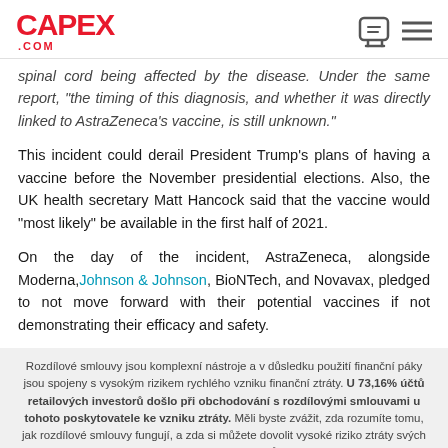CAPEX .COM
spinal cord being affected by the disease. Under the same report, "the timing of this diagnosis, and whether it was directly linked to AstraZeneca's vaccine, is still unknown."
This incident could derail President Trump's plans of having a vaccine before the November presidential elections. Also, the UK health secretary Matt Hancock said that the vaccine would "most likely" be available in the first half of 2021.
On the day of the incident, AstraZeneca, alongside Moderna, Johnson & Johnson, BioNTech, and Novavax, pledged to not move forward with their potential vaccines if not demonstrating their efficacy and safety.
Rozdílové smlouvy jsou komplexní nástroje a v důsledku použití finanční páky jsou spojeny s vysokým rizikem rychlého vzniku finanční ztráty. U 73,16% účtů retailových investorů došlo při obchodování s rozdílovými smlouvami u tohoto poskytovatele ke vzniku ztráty. Měli byste zvážit, zda rozumíte tomu, jak rozdílové smlouvy fungují, a zda si můžete dovolit vysoké riziko ztráty svých finančních prostředků.